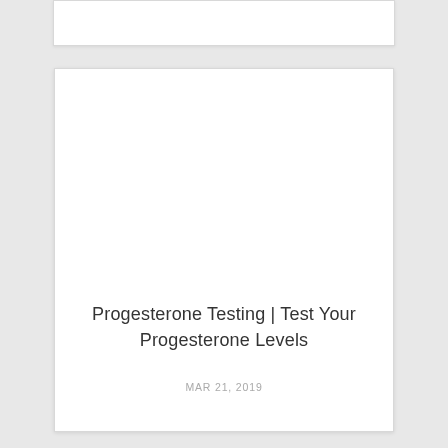Progesterone Testing | Test Your Progesterone Levels
MAR 21, 2019